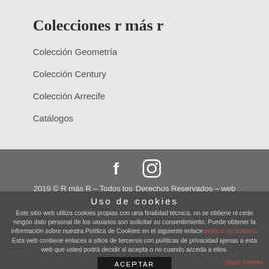Colecciones r más r
Colección Geometría
Colección Century
Colección Arrecife
Catálogos
[Figure (illustration): Social media icons: Facebook (f) and Instagram (camera) in white on grey background]
2019 © R más R – Todos los Derechos Reservados – web
Uso de cookies
Este sitio web utiliza cookies propias con una finalidad técnica, no se obtiene ni cede ningún dato personal de los usuarios son solicitar su consentimiento. Puede obtener la información sobre nuestra Política de Cookies en el siguiente enlace política de cookies. Esta web contiene enlaces a sitios de terceros con políticas de privacidad ajenas a esta web que usted podrá decidir si acepta o no cuando acceda a ellos.
ACEPTAR
plugin cookies